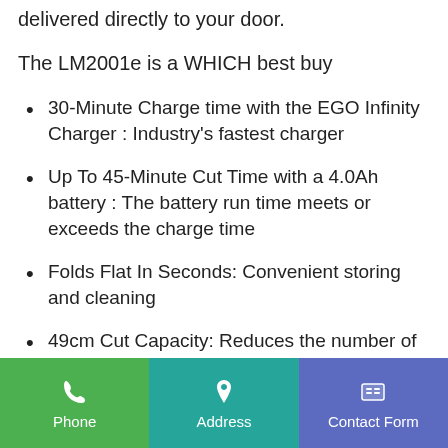delivered directly to your door.
The LM2001e is a WHICH best buy
30-Minute Charge time with the EGO Infinity Charger : Industry's fastest charger
Up To 45-Minute Cut Time with a 4.0Ah battery : The battery run time meets or exceeds the charge time
Folds Flat In Seconds: Convenient storing and cleaning
49cm Cut Capacity: Reduces the number of passes required
Phone | Address | Contact Form